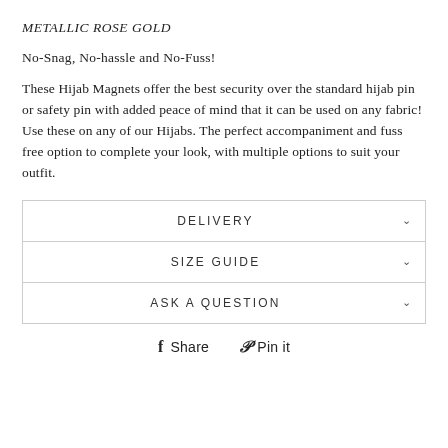METALLIC ROSE GOLD
No-Snag, No-hassle and No-Fuss!
These Hijab Magnets offer the best security over the standard hijab pin or safety pin with added peace of mind that it can be used on any fabric! Use these on any of our Hijabs. The perfect accompaniment and fuss free option to complete your look, with multiple options to suit your outfit.
| DELIVERY | ∨ |
| SIZE GUIDE | ∨ |
| ASK A QUESTION | ∨ |
f Share   𝒫 Pin it